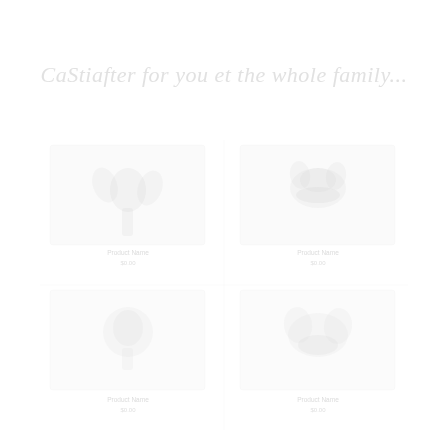CaStiafter for you et the whole family...
[Figure (photo): Faded/watermarked product catalog page showing multiple product images in a two-column grid layout with product names and prices, all rendered in very light gray tones against white background]